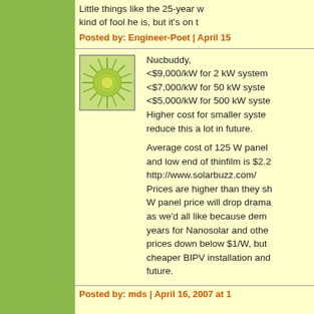Little things like the 25-year kind of fool he is, but it's on t
Posted by: Engineer-Poet | April 15
[Figure (illustration): Avatar icon showing a stylized sun with green radiating lines on a light green background with a circular center]
Nucbuddy,
<$9,000/kW for 2 kW system
<$7,000/kW for 50 kW system
<$5,000/kW for 500 kW system
Higher cost for smaller system reduce this a lot in future.

Average cost of 125 W panel and low end of thinfilm is $2.2 http://www.solarbuzz.com/ Prices are higher than they show W panel price will drop dramatically as we'd all like because demand years for Nanosolar and other prices down below $1/W, but cheaper BIPV installation and future.
Posted by: mds | April 16, 2007 at 1